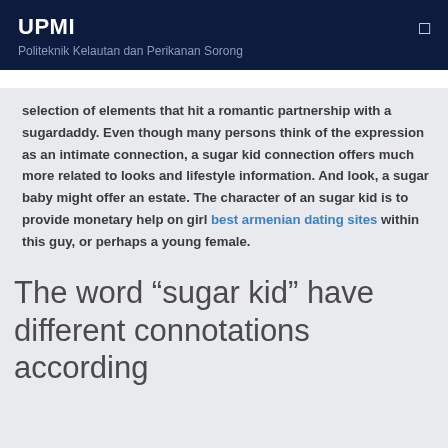UPMI
Politeknik Kelautan dan Perikanan Sorong
selection of elements that hit a romantic partnership with a sugardaddy. Even though many persons think of the expression as an intimate connection, a sugar kid connection offers much more related to looks and lifestyle information. And look, a sugar baby might offer an estate. The character of an sugar kid is to provide monetary help on girl best armenian dating sites within this guy, or perhaps a young female.
The word “sugar kid” have different connotations according